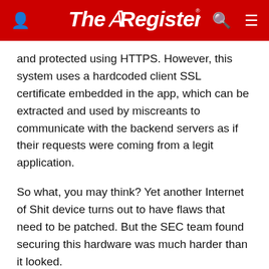The Register
and protected using HTTPS. However, this system uses a hardcoded client SSL certificate embedded in the app, which can be extracted and used by miscreants to communicate with the backend servers as if their requests were coming from a legit application.
So what, you may think? Yet another Internet of Shit device turns out to have flaws that need to be patched. But the SEC team found securing this hardware was much harder than it looked.
For the past three months, the researchers have tried to inform the manufacturer about the issues, it is claimed. They received no response. More worryingly,